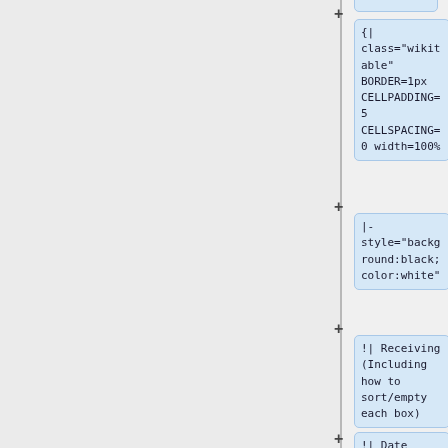[Figure (screenshot): Wiki markup editor showing code boxes with table syntax. First visible box (partial at top) shows a plus sign and partial box. Second box shows: {| class="wikitable" BORDER=1px CELLPADDING=5 CELLSPACING=0 width=100%. Third box shows: |- style="background:black; color:white". Fourth box shows: !| Receiving (Including how to sort/empty each box). Fifth box (partial at bottom) shows: !| Date]
{|
class="wikit
able"
BORDER=1px
CELLPADDING=
5
CELLSPACING=
0 width=100%
|-
style="backg
round:black;
color:white"
!| Receiving
(Including
how to
sort/empty
each box)
!| Date